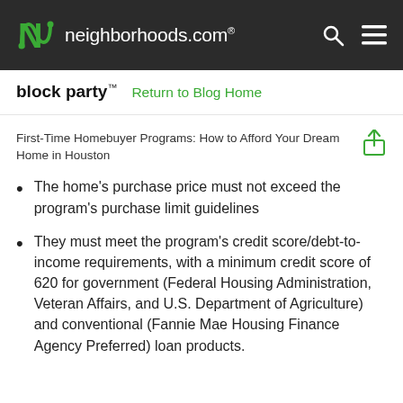neighborhoods.com
block party™   Return to Blog Home
First-Time Homebuyer Programs: How to Afford Your Dream Home in Houston
The home's purchase price must not exceed the program's purchase limit guidelines
They must meet the program's credit score/debt-to-income requirements, with a minimum credit score of 620 for government (Federal Housing Administration, Veteran Affairs, and U.S. Department of Agriculture) and conventional (Fannie Mae Housing Finance Agency Preferred) loan products.